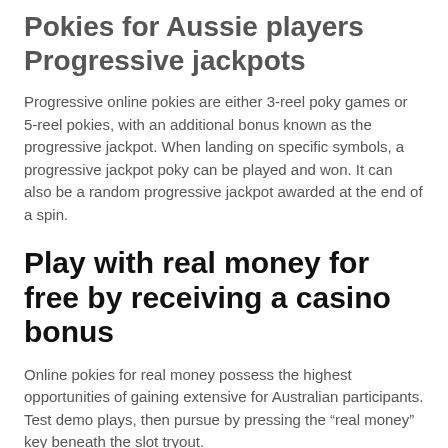Pokies for Aussie players Progressive jackpots
Progressive online pokies are either 3-reel poky games or 5-reel pokies, with an additional bonus known as the progressive jackpot. When landing on specific symbols, a progressive jackpot poky can be played and won. It can also be a random progressive jackpot awarded at the end of a spin.
Play with real money for free by receiving a casino bonus
Online pokies for real money possess the highest opportunities of gaining extensive for Australian participants. Test demo plays, then pursue by pressing the “real money” key beneath the slot tryout.